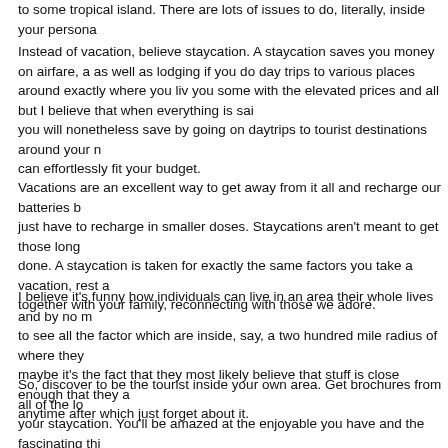to some tropical island. There are lots of issues to do, literally, inside your persona
Instead of vacation, believe staycation. A staycation saves you money on airfare, as well as lodging if you do day trips to various places around exactly where you live you some with the elevated prices and all but I believe that when everything is said you will nonetheless save by going on daytrips to tourist destinations around your n can effortlessly fit your budget.
Vacations are an excellent way to get away from it all and recharge our batteries b just have to recharge in smaller doses. Staycations aren't meant to get those long done. A staycation is taken for exactly the same factors you take a vacation, rest a together with your family, reconnecting with those we adore.
I believe it's funny how individuals can live in an area their whole lives and by no m to see all the factor which are inside, say, a two hundred mile radius of where they maybe it's the fact that they most likely believe that stuff is close enough that they a anytime after which just forget about it.
So, discover to be the tourist inside your own area. Get brochures from all of the lo your staycation. You'll be amazed at the enjoyable you have and the fascinating thi to mention, be totally shocked which you had not carried out this sooner. Issues an hear about on television or the radio might seem like they are too far away but in re take an hour or two to obtain to. What a shame to pass up some thing so close to c weed the garden.